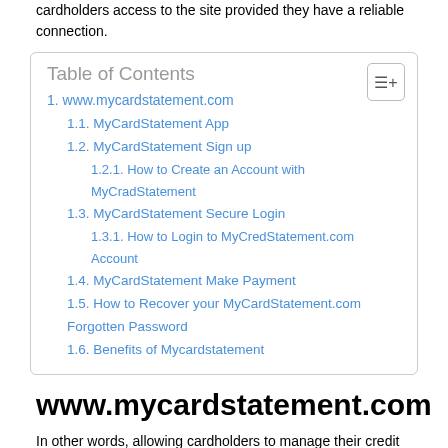cardholders access to the site provided they have a reliable connection.
| Table of Contents |
| --- |
| 1. www.mycardstatement.com |
| 1.1. MyCardStatement App |
| 1.2. MyCardStatement Sign up |
| 1.2.1. How to Create an Account with MyCradStatement |
| 1.3. MyCardStatement Secure Login |
| 1.3.1. How to Login to MyCredStatement.com Account |
| 1.4. MyCardStatement Make Payment |
| 1.5. How to Recover your MyCardStatement.com Forgotten Password |
| 1.6. Benefits of Mycardstatement |
www.mycardstatement.com
In other words, allowing cardholders to manage their credit accounts, mycardstatement.com makes available a unified